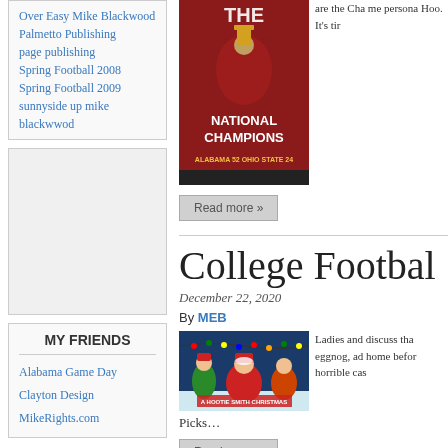Over Easy Mike Blackwood Palmetto Publishing
page publishing
Spring Football 2008
Spring Football 2009
sunnyside up mike blackwwod
[Figure (photo): Alabama National Champions magazine cover showing basketball player holding trophy, Alabama 52 Ohio State 24]
are the Cha me persona Hoo. It's tir
Read more »
College Footbal
December 22, 2020
By MEB
[Figure (photo): Christmas scene with elf, Santa Claus, and another character with holiday lights, titled 'A Hootie Smith Christmas']
Ladies and discuss tha eggnog, ad home befor horrible cas
Picks…
Read more »
MY FRIENDS
Alabama Game Day
Clayton Design
MikeRights.com